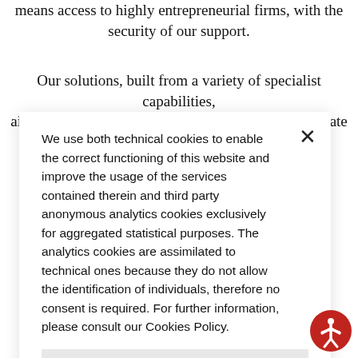means access to highly entrepreneurial firms, with the security of our support.
Our solutions, built from a variety of specialist capabilities, aim to help investors unlock opportunities and generate long-
We use both technical cookies to enable the correct functioning of this website and improve the usage of the services contained therein and third party anonymous analytics cookies exclusively for aggregated statistical purposes. The analytics cookies are assimilated to technical ones because they do not allow the identification of individuals, therefore no consent is required. For further information, please consult our Cookies Policy.
LEARN MORE